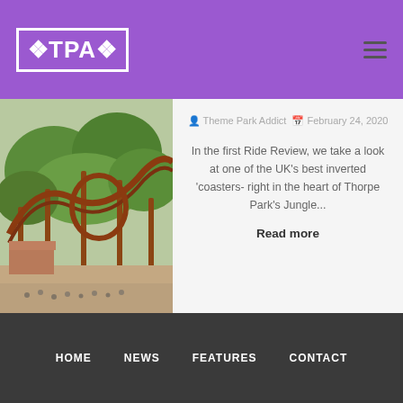TPA
[Figure (photo): Aerial view of roller coaster tracks with green trees and people below at Thorpe Park]
Theme Park Addict  February 24, 2020
In the first Ride Review, we take a look at one of the UK's best inverted 'coasters- right in the heart of Thorpe Park's Jungle...
Read more
HOME  NEWS  FEATURES  CONTACT